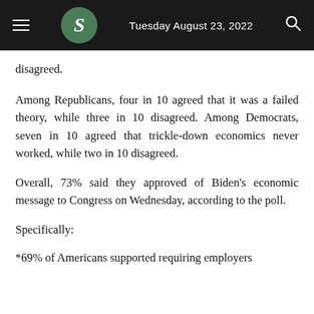Tuesday August 23, 2022
disagreed.
Among Republicans, four in 10 agreed that it was a failed theory, while three in 10 disagreed. Among Democrats, seven in 10 agreed that trickle-down economics never worked, while two in 10 disagreed.
Overall, 73% said they approved of Biden's economic message to Congress on Wednesday, according to the poll.
Specifically:
*69% of Americans supported requiring employers to...